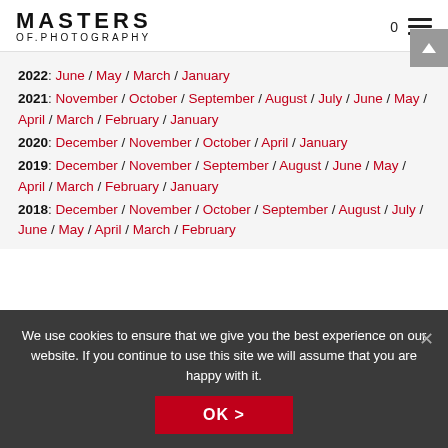MASTERS OF.PHOTOGRAPHY
2022: June / May / March / January
2021: November / October / September / August / July / June / May / April / March / February / January
2020: December / November / October / April / January
2019: December / November / September / August / June / May / April / March / February / January
2018: December / November / October / September / August / July / June / May / April / March / February
We use cookies to ensure that we give you the best experience on our website. If you continue to use this site we will assume that you are happy with it.
OK >